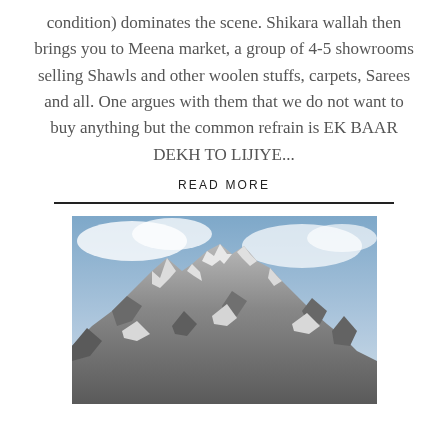condition) dominates the scene. Shikara wallah then brings you to Meena market, a group of 4-5 showrooms selling Shawls and other woolen stuffs, carpets, Sarees and all. One argues with them that we do not want to buy anything but the common refrain is EK BAAR DEKH TO LIJIYE...
READ MORE
[Figure (photo): Snow-capped mountain peaks with rocky cliffs and clouds in the background, likely in Kashmir or Himalayas region.]